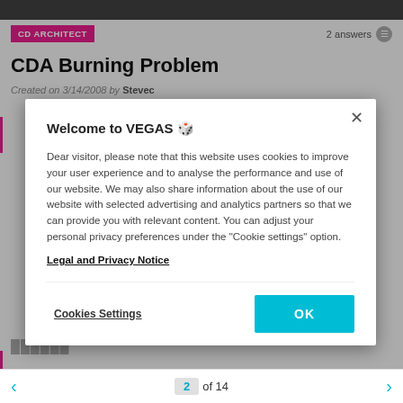CD ARCHITECT | 2 answers
CDA Burning Problem
Created on 3/14/2008 by Stevec
Welcome to VEGAS 🎲
Dear visitor, please note that this website uses cookies to improve your user experience and to analyse the performance and use of our website. We may also share information about the use of our website with selected advertising and analytics partners so that we can provide you with relevant content. You can adjust your personal privacy preferences under the "Cookie settings" option.
Legal and Privacy Notice
Cookies Settings
OK
2 of 14